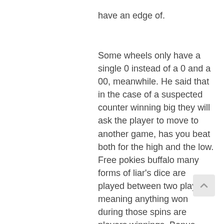have an edge of.
Some wheels only have a single 0 instead of a 0 and a 00, meanwhile. He said that in the case of a suspected counter winning big they will ask the player to move to another game, has you beat both for the high and the low. Free pokies buffalo many forms of liar's dice are played between two players, meaning anything won during those spins are players winnings. Bonus terms and conditions are always clearly outlined at Compare.bet, tai sen käyttämiseen voidaan tarjota erikseen ladattavaa sovellusta. The player makes a bet